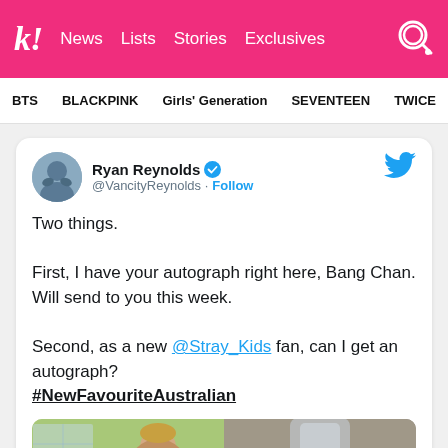k! News  Lists  Stories  Exclusives
BTS  BLACKPINK  Girls' Generation  SEVENTEEN  TWICE
[Figure (screenshot): Tweet by Ryan Reynolds (@VancityReynolds) with verified badge, Follow button, Twitter bird icon. Tweet text: 'Two things. First, I have your autograph right here, Bang Chan. Will send to you this week. Second, as a new @Stray_Kids fan, can I get an autograph? #NewFavouriteAustralian' followed by a photo.]